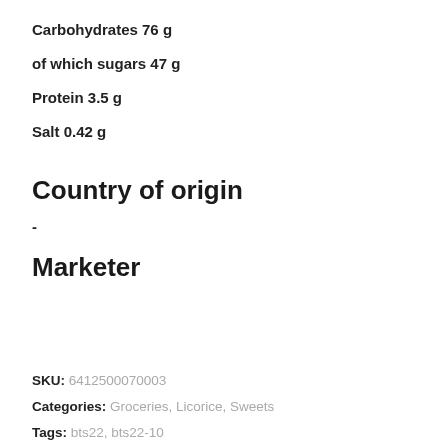Carbohydrates 76 g
of which sugars 47 g
Protein 3.5 g
Salt 0.42 g
Country of origin
-
Marketer
SKU: 6412500070003
Categories: Groceries, Licorice, Sweets
Tags: bts22, bts22-10